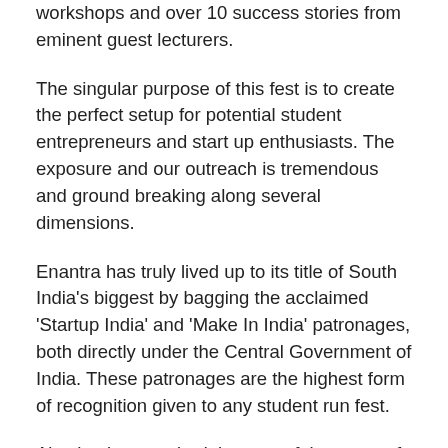workshops and over 10 success stories from eminent guest lecturers.
The singular purpose of this fest is to create the perfect setup for potential student entrepreneurs and start up enthusiasts. The exposure and our outreach is tremendous and ground breaking along several dimensions.
Enantra has truly lived up to its title of South India's biggest by bagging the acclaimed 'Startup India' and 'Make In India' patronages, both directly under the Central Government of India. These patronages are the highest form of recognition given to any student run fest.
Also having acquired the powerful support of the Government of TamilNadu, TiE, CII, BYST